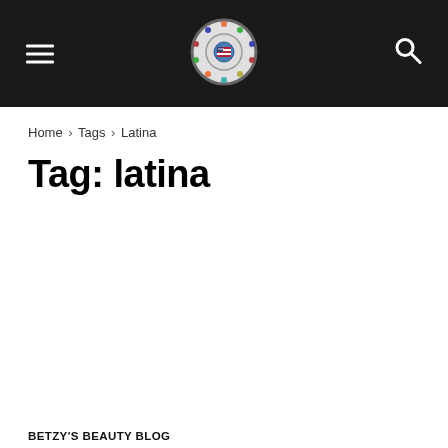Navigation header with hamburger menu, circular logo, and search icon
Home › Tags › Latina
Tag: latina
BETZY'S BEAUTY BLOG